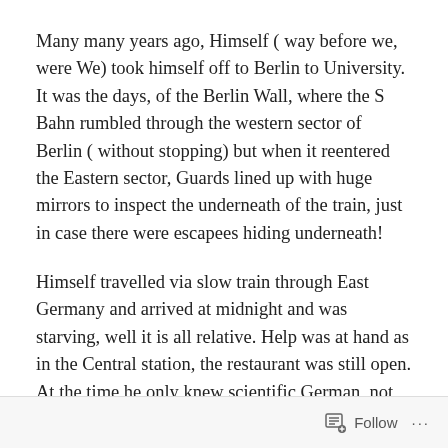Many many years ago, Himself ( way before we, were We) took himself off to Berlin to University. It was the days, of the Berlin Wall, where the S Bahn rumbled through the western sector of Berlin ( without stopping) but when it reentered the Eastern sector, Guards lined up with huge mirrors to inspect the underneath of the train, just in case there were escapees hiding underneath!
Himself travelled via slow train through East Germany and arrived at midnight and was starving, well it is all relative. Help was at hand as in the Central station, the restaurant was still open. At the time he only knew scientific German, not much help in day to day situations, but undeterred,
Follow ···